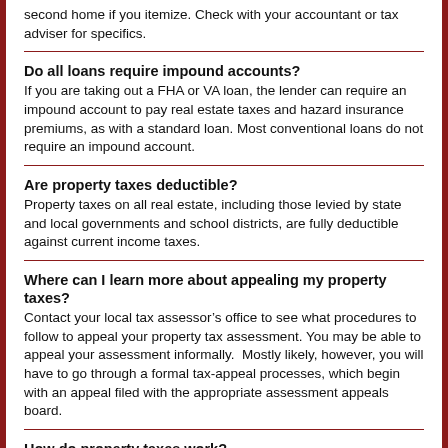second home if you itemize. Check with your accountant or tax adviser for specifics.
Do all loans require impound accounts?
If you are taking out a FHA or VA loan, the lender can require an impound account to pay real estate taxes and hazard insurance premiums, as with a standard loan. Most conventional loans do not require an impound account.
Are property taxes deductible?
Property taxes on all real estate, including those levied by state and local governments and school districts, are fully deductible against current income taxes.
Where can I learn more about appealing my property taxes?
Contact your local tax assessor’s office to see what procedures to follow to appeal your property tax assessment. You may be able to appeal your assessment informally.  Mostly likely, however, you will have to go through a formal tax-appeal processes, which begin with an appeal filed with the appropriate assessment appeals board.
How do property taxes work?
Property taxes are what most homeowners in the United